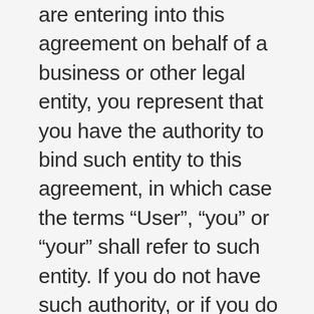are entering into this agreement on behalf of a business or other legal entity, you represent that you have the authority to bind such entity to this agreement, in which case the terms “User”, “you” or “your” shall refer to such entity. If you do not have such authority, or if you do not agree with the terms of this agreement, you must not accept this agreement and may not access and use the Website and Services. By accessing and using the Website and Services, you acknowledge that you have read, understood, and agree to be bound by the terms of this Policy. This Policy does not apply to the practices